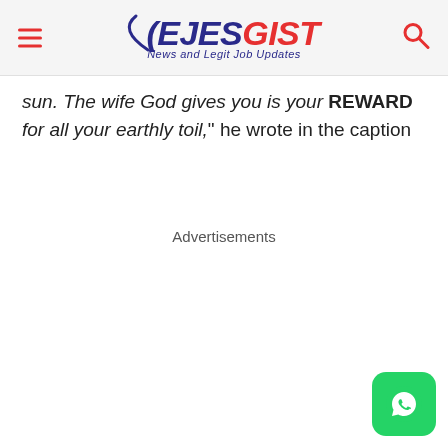EJESGIST - News and Legit Job Updates
sun. The wife God gives you is your REWARD for all your earthly toil," he wrote in the caption
Advertisements